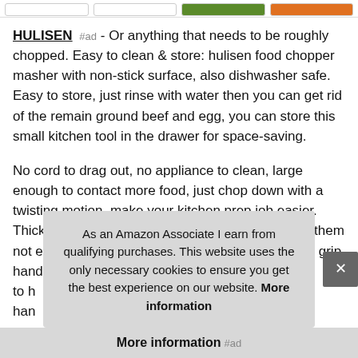HULISEN #ad - Or anything that needs to be roughly chopped. Easy to clean & store: hulisen food chopper masher with non-stick surface, also dishwasher safe. Easy to store, just rinse with water then you can get rid of the remain ground beef and egg, you can store this small kitchen tool in the drawer for space-saving.
No cord to drag out, no appliance to clean, large enough to contact more food, just chop down with a twisting motion, make your kitchen prep job easier. Thick handle with rivets on each side which make them not easy to bend and not deformed. Upgrade wide grip handle - save more effort; design with...
As an Amazon Associate I earn from qualifying purchases. This website uses the only necessary cookies to ensure you get the best experience on our website. More information
More information #ad